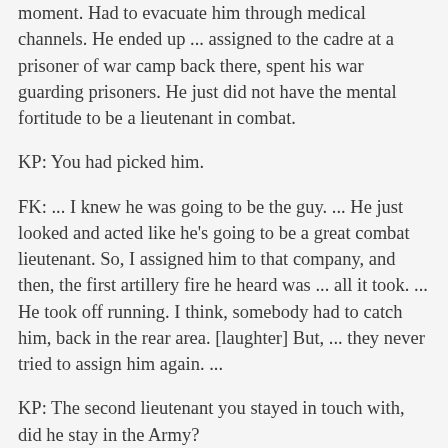moment. Had to evacuate him through medical channels. He ended up ... assigned to the cadre at a prisoner of war camp back there, spent his war guarding prisoners. He just did not have the mental fortitude to be a lieutenant in combat.
KP: You had picked him.
FK: ... I knew he was going to be the guy. ... He just looked and acted like he's going to be a great combat lieutenant. So, I assigned him to that company, and then, the first artillery fire he heard was ... all it took. ... He took off running. I think, somebody had to catch him, back in the rear area. [laughter] But, ... they never tried to assign him again. ...
KP: The second lieutenant you stayed in touch with, did he stay in the Army?
FK: No, he did not.
KP: Do you know his name?
FK: Sure. His name's John C. Whitney. He worked for